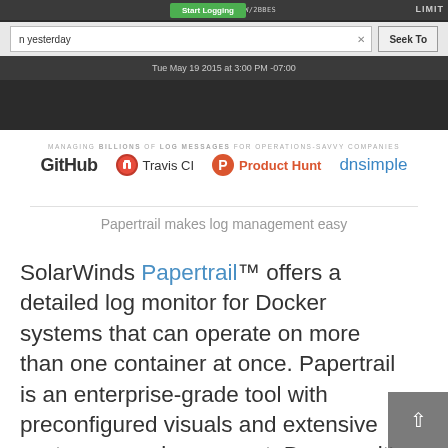[Figure (screenshot): Screenshot of a log management web application UI showing a URL bar, Start Logging button, search input with 'n yesterday', Seek To button, and a date/time bar showing 'Tue May 19 2015 at 3:00 PM -07:00']
MANAGING BILLIONS OF LOG MESSAGES FOR OPERATIONS-SAVVY COMPANIES
[Figure (logo): Logos row: GitHub, Travis CI, Product Hunt, dnsimple]
Papertrail makes log management easy
SolarWinds Papertrail™ offers a detailed log monitor for Docker systems that can operate on more than one container at once. Papertrail is an enterprise-grade tool with preconfigured visuals and extensive customer service support. Because it's a highly automated closed-source tool, setup is much easier than other Docker optimizers that might require manual configuration.